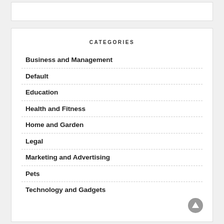CATEGORIES
Business and Management
Default
Education
Health and Fitness
Home and Garden
Legal
Marketing and Advertising
Pets
Technology and Gadgets